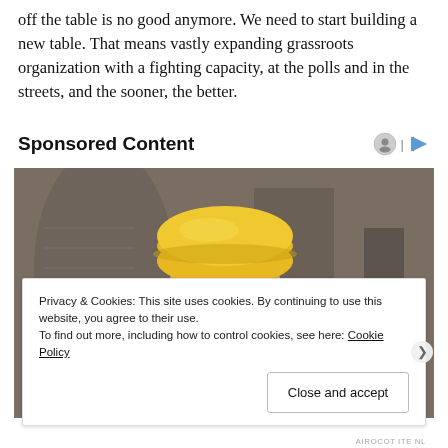off the table is no good anymore. We need to start building a new table. That means vastly expanding grassroots organization with a fighting capacity, at the polls and in the streets, and the sooner, the better.
Sponsored Content
[Figure (photo): Smiling construction worker wearing yellow hard hat, safety glasses, plaid shirt, and yellow ear defenders around his neck, standing in an industrial setting.]
Privacy & Cookies: This site uses cookies. By continuing to use this website, you agree to their use.
To find out more, including how to control cookies, see here: Cookie Policy
Close and accept